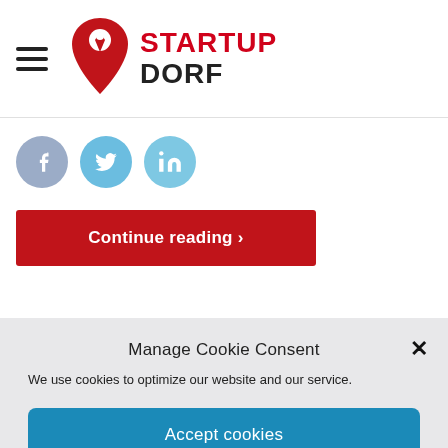[Figure (logo): Startup Dorf logo with red pin/torch icon and text STARTUP DORF]
[Figure (other): Three social media icon circles: Facebook (f), Twitter bird, LinkedIn (in)]
Continue reading ›
Manage Cookie Consent
We use cookies to optimize our website and our service.
Accept cookies
Deny
View preferences
English
Privacy  Privacy